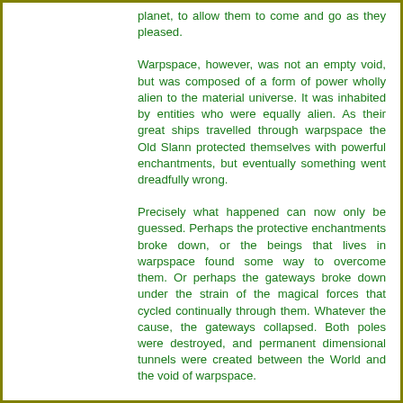planet, to allow them to come and go as they pleased.
Warpspace, however, was not an empty void, but was composed of a form of power wholly alien to the material universe. It was inhabited by entities who were equally alien. As their great ships travelled through warpspace the Old Slann protected themselves with powerful enchantments, but eventually something went dreadfully wrong.
Precisely what happened can now only be guessed. Perhaps the protective enchantments broke down, or the beings that lives in warpspace found some way to overcome them. Or perhaps the gateways broke down under the strain of the magical forces that cycled continually through them. Whatever the cause, the gateways collapsed. Both poles were destroyed, and permanent dimensional tunnels were created between the World and the void of warpspace.